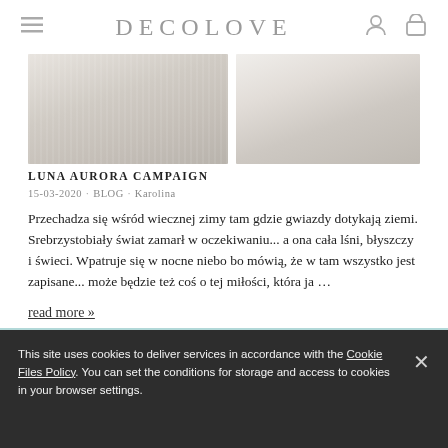DECOLOVE
[Figure (photo): Two fashion/wedding campaign images side by side showing white/cream fabric or bridal wear with soft lighting]
LUNA AURORA CAMPAIGN
15-03-2020 · BLOG · Karolina
Przechadza się wśród wiecznej zimy tam gdzie gwiazdy dotykają ziemi. Srebrzystobiały świat zamarł w oczekiwaniu... a ona cała lśni, błyszczy i świeci. Wpatruje się w nocne niebo bo mówią, że w tam wszystko jest zapisane... może będzie też coś o tej miłości, która ja ...
read more »
This site uses cookies to deliver services in accordance with the Cookie Files Policy. You can set the conditions for storage and access to cookies in your browser settings.